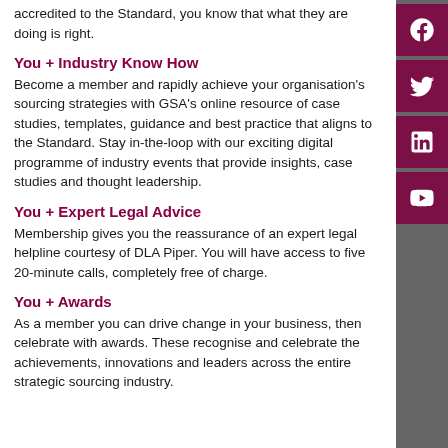accredited to the Standard, you know that what they are doing is right.
You + Industry Know How
Become a member and rapidly achieve your organisation's sourcing strategies with GSA's online resource of case studies, templates, guidance and best practice that aligns to the Standard. Stay in-the-loop with our exciting digital programme of industry events that provide insights, case studies and thought leadership.
You + Expert Legal Advice
Membership gives you the reassurance of an expert legal helpline courtesy of DLA Piper. You will have access to five 20-minute calls, completely free of charge.
You + Awards
As a member you can drive change in your business, then celebrate with awards. These recognise and celebrate the achievements, innovations and leaders across the entire strategic sourcing industry.